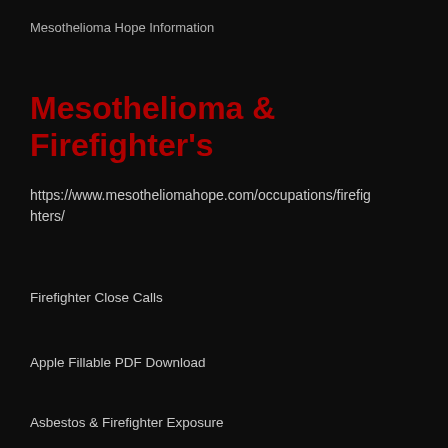Mesothelioma Hope Information
Mesothelioma & Firefighter's
https://www.mesotheliomahope.com/occupations/firefighters/
Firefighter Close Calls
Apple Fillable PDF Download
Asbestos & Firefighter Exposure